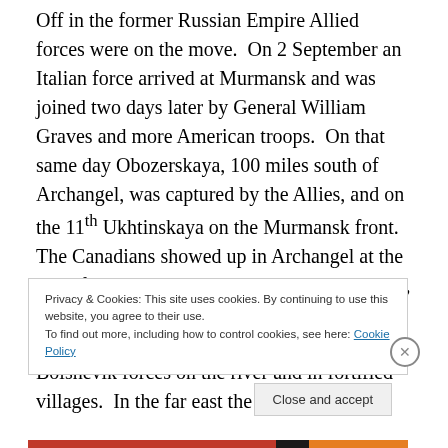Off in the former Russian Empire Allied forces were on the move. On 2 September an Italian force arrived at Murmansk and was joined two days later by General William Graves and more American troops. On that same day Obozerskaya, 100 miles south of Archangel, was captured by the Allies, and on the 11th Ukhtinskaya on the Murmansk front. The Canadians showed up in Archangel at the end of the month, by which time Allied troops, aided by Poles and White forces, had pushed 150 miles south up the Dvina River, battling Bolshevik forces on the river and in fortified villages. In the far east the city of
Privacy & Cookies: This site uses cookies. By continuing to use this website, you agree to their use.
To find out more, including how to control cookies, see here: Cookie Policy